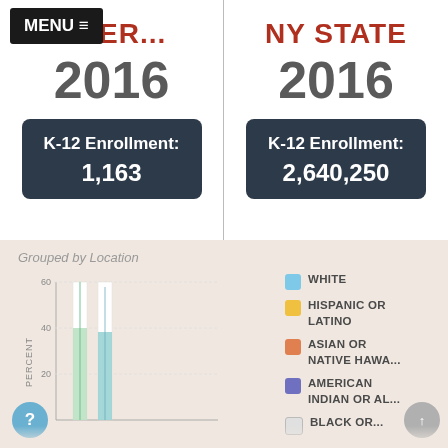MENU ≡ NDER... NY STATE
2016
2016
K-12 Enrollment: 1,163
K-12 Enrollment: 2,640,250
Grouped by Location
[Figure (bar-chart): Bar chart showing enrollment percentages grouped by location, partially visible. Y-axis shows 20, 40, 60. Legend shows WHITE, HISPANIC OR LATINO, ASIAN OR NATIVE HAWA..., AMERICAN INDIAN OR AL..., BLACK OR...]